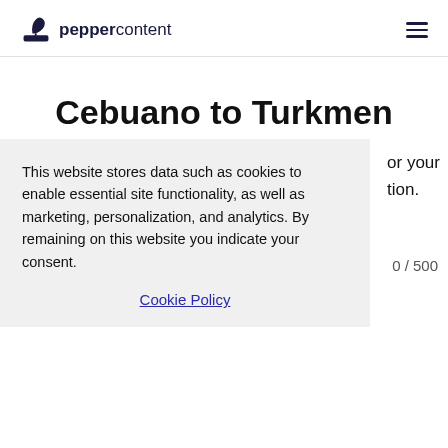peppercontent
Cebuano to Turkmen Translation
This website stores data such as cookies to enable essential site functionality, as well as marketing, personalization, and analytics. By remaining on this website you indicate your consent.
Cookie Policy
or your tion.
0 / 500